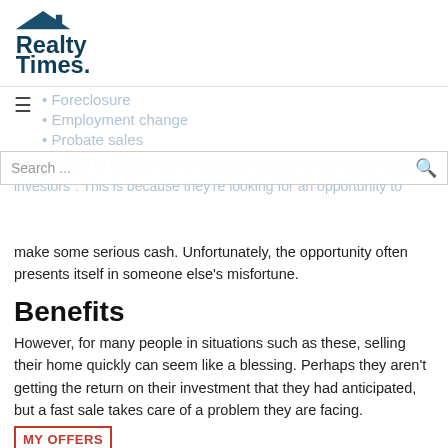[Figure (logo): Realty Times logo with house icon above bold text 'Realty Times.']
Foreclosure
Employment change
Probate sales
These types of buyers are sometimes referred to as 'opportunity investors'. This is because they're looking for an opportunity to make some serious cash. Unfortunately, the opportunity often presents itself in someone else's misfortune.
Benefits
However, for many people in situations such as these, selling their home quickly can seem like a blessing. Perhaps they aren't getting the return on their investment that they had anticipated, but a fast sale takes care of a problem they are facing.
[Figure (other): MY OFFERS stamp/badge in red border]
And selling to a cash buyer certainly is fast.